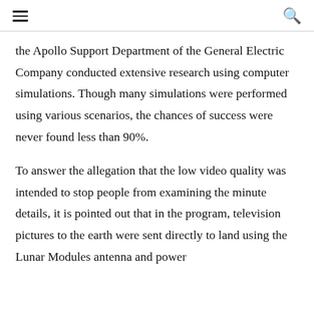≡  🔍
the Apollo Support Department of the General Electric Company conducted extensive research using computer simulations. Though many simulations were performed using various scenarios, the chances of success were never found less than 90%.
To answer the allegation that the low video quality was intended to stop people from examining the minute details, it is pointed out that in the program, television pictures to the earth were sent directly to land using the Lunar Modules antenna and power